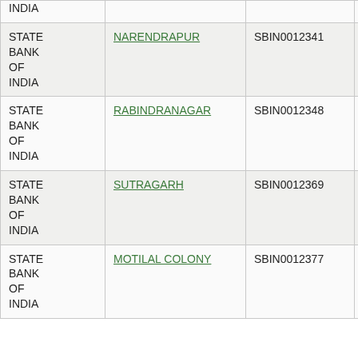| Bank | Branch | IFSC | PIN |
| --- | --- | --- | --- |
| STATE BANK OF INDIA | NARENDRAPUR | SBIN0012341 | NA |
| STATE BANK OF INDIA | RABINDRANAGAR | SBIN0012348 | 700002376 |
| STATE BANK OF INDIA | SUTRAGARH | SBIN0012369 | 741002552 |
| STATE BANK OF INDIA | MOTILAL COLONY | SBIN0012377 | 700002555 |